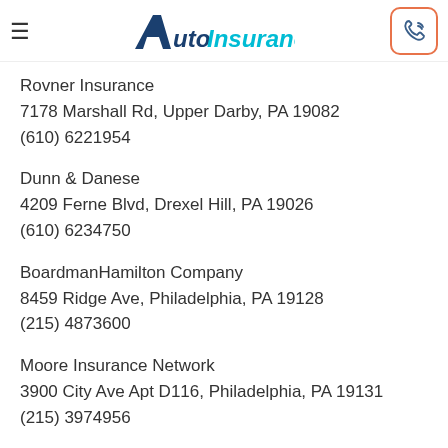AutoInsuranceQuote
Rovner Insurance
7178 Marshall Rd, Upper Darby, PA 19082
(610) 6221954
Dunn & Danese
4209 Ferne Blvd, Drexel Hill, PA 19026
(610) 6234750
BoardmanHamilton Company
8459 Ridge Ave, Philadelphia, PA 19128
(215) 4873600
Moore Insurance Network
3900 City Ave Apt D116, Philadelphia, PA 19131
(215) 3974956